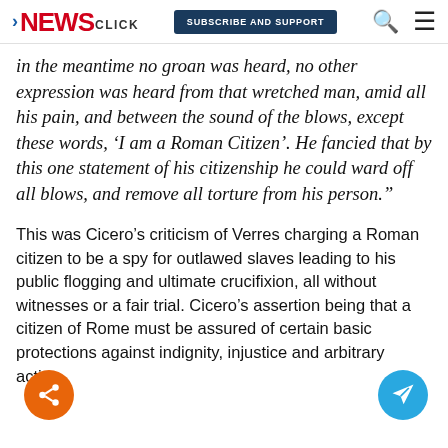Newsclick | SUBSCRIBE AND SUPPORT
in the meantime no groan was heard, no other expression was heard from that wretched man, amid all his pain, and between the sound of the blows, except these words, ‘I am a Roman Citizen’. He fancied that by this one statement of his citizenship he could ward off all blows, and remove all torture from his person.”
This was Cicero’s criticism of Verres charging a Roman citizen to be a spy for outlawed slaves leading to his public flogging and ultimate crucifixion, all without witnesses or a fair trial. Cicero’s assertion being that a citizen of Rome must be assured of certain basic protections against indignity, injustice and arbitrary action.